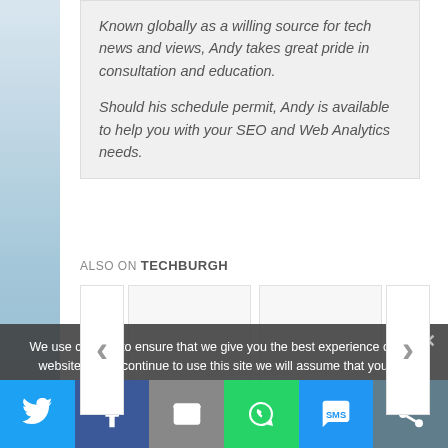Known globally as a willing source for tech news and views, Andy takes great pride in consultation and education.

Should his schedule permit, Andy is available to help you with your SEO and Web Analytics needs.
ALSO ON TECHBURGH
[Figure (screenshot): Carousel widget with left and right navigation arrows and two card placeholders]
We use cookies to ensure that we give you the best experience on our website. If you continue to use this site we will assume that you are happy with it.
[Figure (infographic): Social sharing bar with Twitter, Facebook, Email, WhatsApp, SMS, and other share icons]